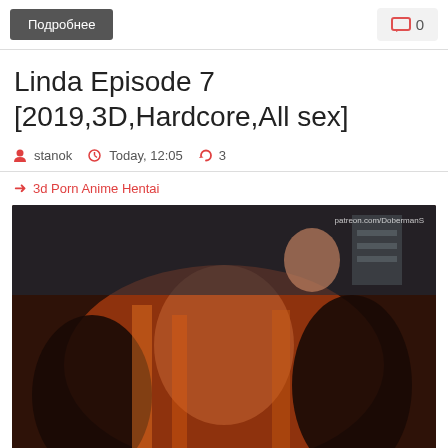Подробнее
0
Linda Episode 7 [2019,3D,Hardcore,All sex]
stanok   Today, 12:05   3
3d Porn Anime Hentai
[Figure (screenshot): 3D animated adult content thumbnail with watermark patreon.com/DobermanS]